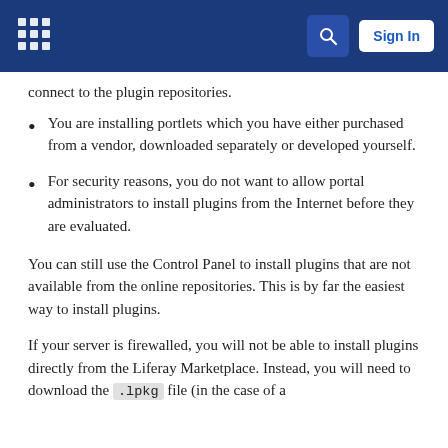Liferay documentation site header with logo, search button, and Sign In button
connect to the plugin repositories.
You are installing portlets which you have either purchased from a vendor, downloaded separately or developed yourself.
For security reasons, you do not want to allow portal administrators to install plugins from the Internet before they are evaluated.
You can still use the Control Panel to install plugins that are not available from the online repositories. This is by far the easiest way to install plugins.
If your server is firewalled, you will not be able to install plugins directly from the Liferay Marketplace. Instead, you will need to download the .lpkg file (in the case of a